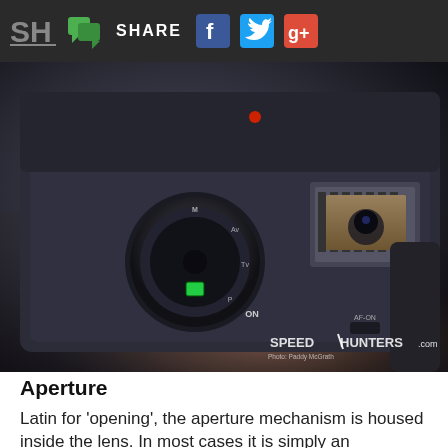SH SHARE [Facebook] [Twitter] [Google+]
[Figure (photo): Close-up photo of a DSLR camera top showing the mode dial (set to ON), hot shoe, and AF-ON button. Speedhunters.com watermark visible in bottom right corner. Photo credit: Paddy McGrath.]
Aperture
Latin for 'opening', the aperture mechanism is housed inside the lens. In most cases it is simply an electronically controlled iris that can